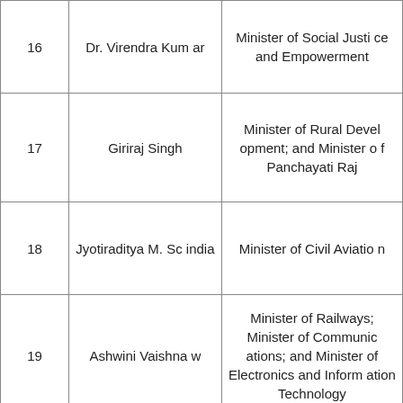| # | Name | Portfolio |
| --- | --- | --- |
| 16 | Dr. Virendra Kumar | Minister of Social Justice and Empowerment |
| 17 | Giriraj Singh | Minister of Rural Development; and Minister of Panchayati Raj |
| 18 | Jyotiraditya M. Scindia | Minister of Civil Aviation |
| 19 | Ashwini Vaishnaw | Minister of Railways; Minister of Communications; and Minister of Electronics and Information Technology |
| 20 | Ramchandra Prasad Singh | Minister of Steel |